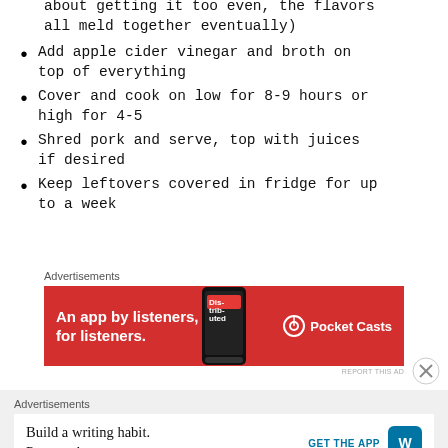about getting it too even, the flavors all meld together eventually)
Add apple cider vinegar and broth on top of everything
Cover and cook on low for 8-9 hours or high for 4-5
Shred pork and serve, top with juices if desired
Keep leftovers covered in fridge for up to a week
[Figure (screenshot): Red advertisement banner for Pocket Casts app: 'An app by listeners, for listeners.' with phone graphic and Pocket Casts logo]
[Figure (screenshot): White advertisement banner for WordPress app: 'Build a writing habit. Post on the go.' with GET THE APP button and WordPress logo]